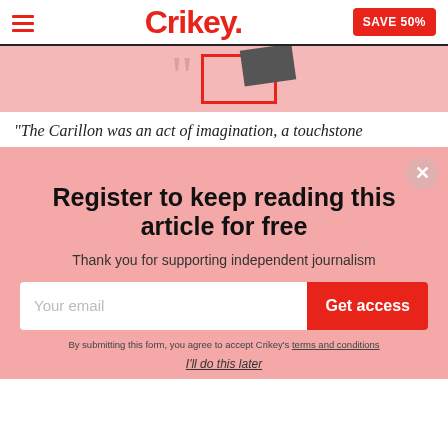Crikey. SAVE 50%
[Figure (illustration): Pink background illustration with quotation mark, red-framed rectangle, and dark diagonal shape]
“The Carillon was an act of imagination, a touchstone
Register to keep reading this article for free
Thank you for supporting independent journalism
Your email
Get access
By submitting this form, you agree to accept Crikey’s terms and conditions
I’ll do this later